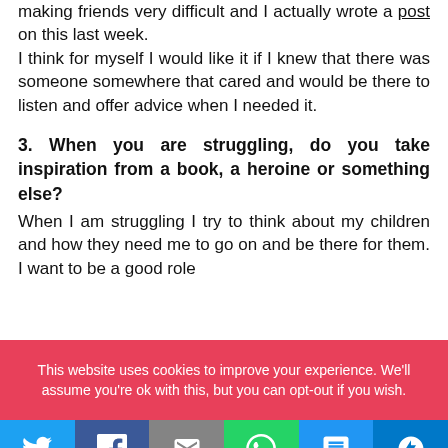making friends very difficult and I actually wrote a post on this last week. I think for myself I would like it if I knew that there was someone somewhere that cared and would be there to listen and offer advice when I needed it.
3. When you are struggling, do you take inspiration from a book, a heroine or something else?
When I am struggling I try to think about my children and how they need me to go on and be there for them. I want to be a good role
This website uses cookies to improve your experience. We'll assume you're ok with this, but you can opt-out if you wish.